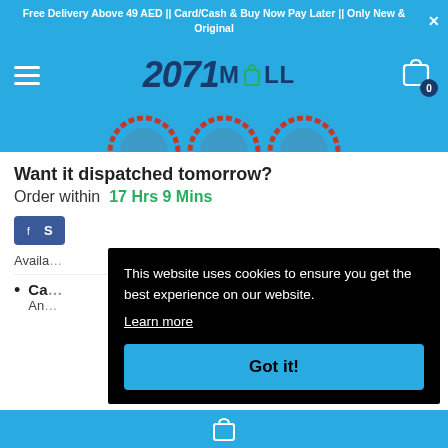Free Delivery Above 49 AED || Card/Cash & Buy Now Pay Later || Only New & Original
[Figure (logo): 2071MALL logo with shopping bag icon on blue navigation bar with hamburger menu and cart icon showing 0 items]
[Figure (illustration): Partial view of decorative red circular emblems/badges on blue background]
Want it dispatched tomorrow? Order within 17 Hrs 9 Mins
Avail...
Ca... An...
This website uses cookies to ensure you get the best experience on our website. Learn more
Got it!